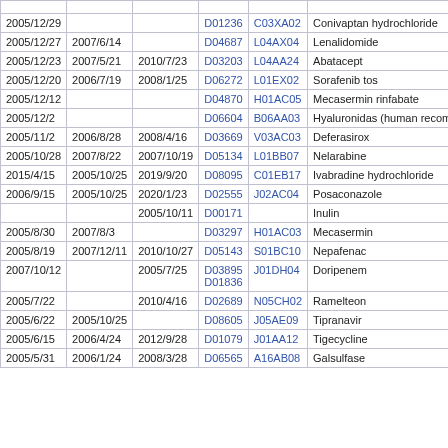|  |  |  |  |  |  |
| --- | --- | --- | --- | --- | --- |
| 2005/12/29 |  |  | D01236 | C03XA02 | Conivaptan hydrochloride |
| 2005/12/27 | 2007/6/14 |  | D04687 | L04AX04 | Lenalidomide |
| 2005/12/23 | 2007/5/21 | 2010/7/23 | D03203 | L04AA24 | Abatacept |
| 2005/12/20 | 2006/7/19 | 2008/1/25 | D06272 | L01EX02 | Sorafenib tos |
| 2005/12/12 |  |  | D04870 | H01AC05 | Mecasermin rinfabate |
| 2005/12/2 |  |  | D06604 | B06AA03 | Hyaluronidase (human recombinant) |
| 2005/11/2 | 2006/8/28 | 2008/4/16 | D03669 | V03AC03 | Deferasirox |
| 2005/10/28 | 2007/8/22 | 2007/10/19 | D05134 | L01BB07 | Nelarabine |
| 2015/4/15 | 2005/10/25 | 2019/9/20 | D08095 | C01EB17 | Ivabradine hydrochloride |
| 2006/9/15 | 2005/10/25 | 2020/1/23 | D02555 | J02AC04 | Posaconazole |
|  |  | 2005/10/11 | D00171 |  | Inulin |
| 2005/8/30 | 2007/8/3 |  | D03297 | H01AC03 | Mecasermin |
| 2005/8/19 | 2007/12/11 | 2010/10/27 | D05143 | S01BC10 | Nepafenac |
| 2007/10/12 |  | 2005/7/25 | D03895 D01836 | J01DH04 | Doripenem |
| 2005/7/22 |  | 2010/4/16 | D02689 | N05CH02 | Ramelteon |
| 2005/6/22 | 2005/10/25 |  | D08605 | J05AE09 | Tipranavir |
| 2005/6/15 | 2006/4/24 | 2012/9/28 | D01079 | J01AA12 | Tigecycline |
| 2005/5/31 | 2006/1/24 | 2008/3/28 | D06565 | A16AB08 | Galsulfase |